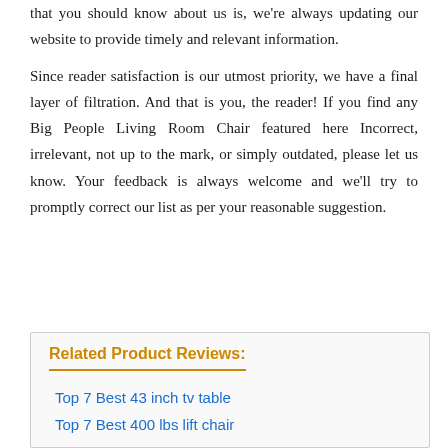that you should know about us is, we're always updating our website to provide timely and relevant information.
Since reader satisfaction is our utmost priority, we have a final layer of filtration. And that is you, the reader! If you find any Big People Living Room Chair featured here Incorrect, irrelevant, not up to the mark, or simply outdated, please let us know. Your feedback is always welcome and we'll try to promptly correct our list as per your reasonable suggestion.
Related Product Reviews:
Top 7 Best 43 inch tv table
Top 7 Best 400 lbs lift chair